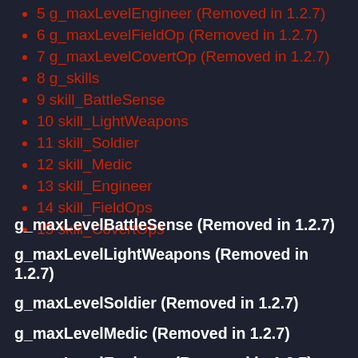5 g_maxLevelEngineer (Removed in 1.2.7)
6 g_maxLevelFieldOp (Removed in 1.2.7)
7 g_maxLevelCovertOp (Removed in 1.2.7)
8 g_skills
9 skill_BattleSense
10 skill_LightWeapons
11 skill_Soldier
12 skill_Medic
13 skill_Engineer
14 skill_FieldOps
15 skill_CovertOps
g_maxLevelBattleSense (Removed in 1.2.7)
g_maxLevelLightWeapons (Removed in 1.2.7)
g_maxLevelSoldier (Removed in 1.2.7)
g_maxLevelMedic (Removed in 1.2.7)
g_maxLevelEngineer (Removed in 1.2.7)
g_maxLevelFieldOp (Removed in 1.2.7)